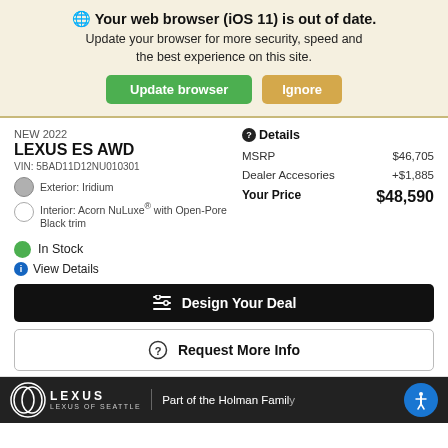🌐 Your web browser (iOS 11) is out of date. Update your browser for more security, speed and the best experience on this site.
Update browser | Ignore
NEW 2022
LEXUS ES AWD
VIN: 5BAD11D12NU010301
Exterior: Iridium
Interior: Acorn NuLuxe® with Open-Pore Black trim
|  |  |
| --- | --- |
| MSRP | $46,705 |
| Dealer Accesories | +$1,885 |
| Your Price | $48,590 |
In Stock
View Details
Design Your Deal
Request More Info
[Figure (logo): Lexus of Seattle logo with 'Part of the Holman Family' text on dark background footer]